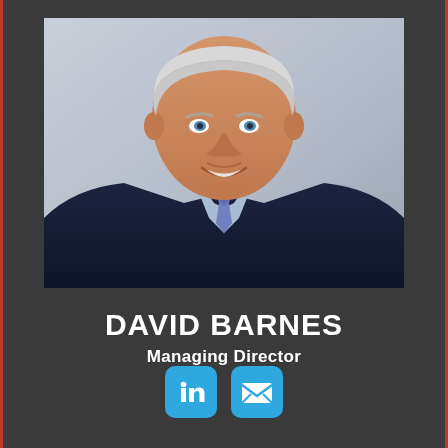[Figure (photo): Professional headshot of David Barnes, a senior man with white/grey hair, wearing a dark navy pinstripe suit, light blue shirt, and blue patterned tie, smiling, against a grey/lavender background]
DAVID BARNES
Managing Director
[Figure (infographic): Two social media/contact icons: LinkedIn icon (in rounded blue square) and Email/envelope icon (in rounded blue square)]